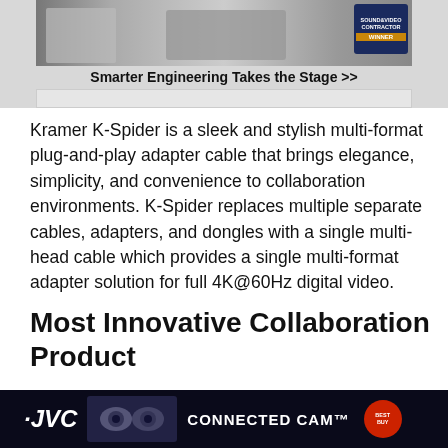[Figure (photo): Advertisement banner showing audio/video equipment with Sound & Video Contractor award badge and caption 'Smarter Engineering Takes the Stage >>']
Kramer K-Spider is a sleek and stylish multi-format plug-and-play adapter cable that brings elegance, simplicity, and convenience to collaboration environments. K-Spider replaces multiple separate cables, adapters, and dongles with a single multi-head cable which provides a single multi-format adapter solution for full 4K@60Hz digital video.
Most Innovative Collaboration Product
Shure IntelliMix Room
[Figure (photo): JVC Connected Cam advertisement banner showing PTZ cameras on dark background with Best Buy badge]